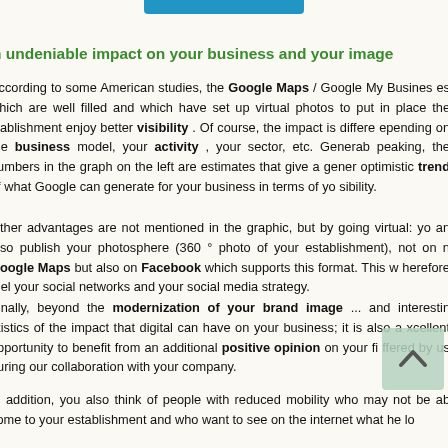[Figure (other): Blue button/bar at top of page]
n undeniable impact on your business and your image
According to some American studies, the Google Maps / Google My Business es which are well filled and which have set up virtual photos to put in place the stablishment enjoy better visibility . Of course, the impact is differe epending on the business model, your activity , your sector, etc. Generab peaking, the numbers in the graph on the left are estimates that give a gener optimistic trend of what Google can generate for your business in terms of yo sibility.
Other advantages are not mentioned in the graphic, but by going virtual: yo an also publish your photosphere (360 ° photo of your establishment), not on n Google Maps but also on Facebook which supports this format. This w herefore fuel your social networks and your social media strategy.
Finally, beyond the modernization of your brand image ... and interestin atistics of the impact that digital can have on your business; it is also a xcellent opportunity to benefit from an additional positive opinion on your fi ffered by us during our collaboration with your company.
In addition, you also think of people with reduced mobility who may not be ab come to your establishment and who want to see on the internet what he lo